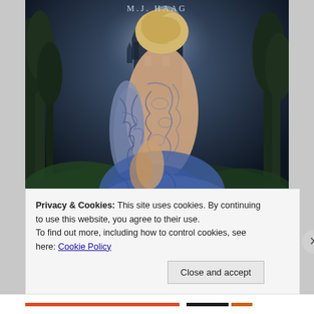[Figure (illustration): Book cover image showing a young blonde woman in a blue backless lace gown with intricate tattoo-like patterns, standing in a dark fantasy forest scene with a castle in the background. Title 'DAMNATION' partially visible at the bottom of the cover. Author name partially visible at the top.]
Privacy & Cookies: This site uses cookies. By continuing to use this website, you agree to their use.
To find out more, including how to control cookies, see here: Cookie Policy
Close and accept